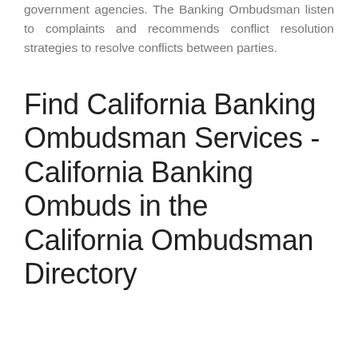government agencies. The Banking Ombudsman listen to complaints and recommends conflict resolution strategies to resolve conflicts between parties.
Find California Banking Ombudsman Services - California Banking Ombuds in the California Ombudsman Directory